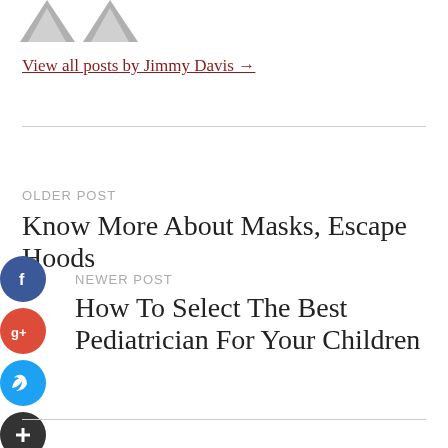[Figure (illustration): Two grey avatar/profile placeholder icons side by side at the top of the page]
View all posts by Jimmy Davis →
OLDER POST
Know More About Masks, Escape Hoods
NEWER POST
How To Select The Best Pediatrician For Your Children
[Figure (illustration): Social sharing icons on the left side: Facebook (blue circle with f), Google+ (red circle with g+), Twitter (blue circle with bird), and a dark circle with plus sign]